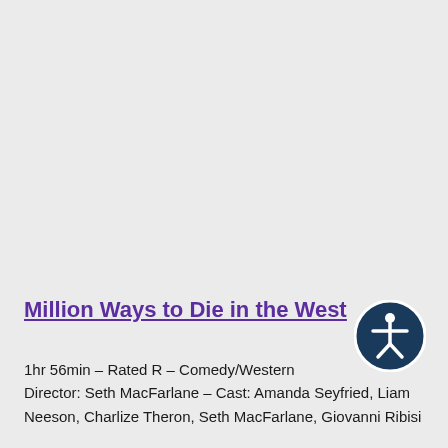[Figure (illustration): Accessibility icon: a white stylized human figure with arms outstretched inside a white circle, on a dark navy/teal circular background with a white ring border.]
Million Ways to Die in the West
1hr 56min – Rated R – Comedy/Western
Director: Seth MacFarlane – Cast: Amanda Seyfried, Liam Neeson, Charlize Theron, Seth MacFarlane, Giovanni Ribisi